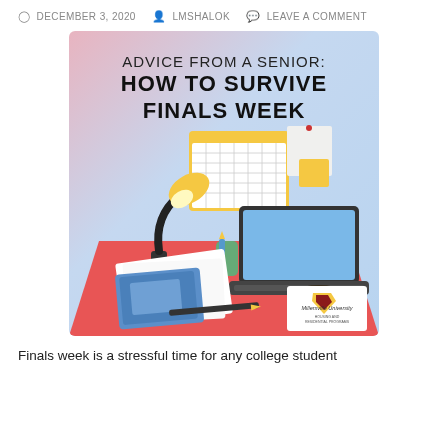DECEMBER 3, 2020  LMSHALOK  LEAVE A COMMENT
[Figure (illustration): Illustrated image with gradient pink-to-blue background. Title text reads 'ADVICE FROM A SENIOR: HOW TO SURVIVE FINALS WEEK'. Below is a cartoon illustration of a student desk with a desk lamp, calendar, laptop, notebook, coffee mug, papers, pencil, pen/pencil holder, and sticky notes. Millersville University Housing and Residential Programs logo in the bottom right corner.]
Finals week is a stressful time for any college student